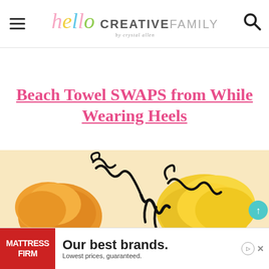hello CREATIVEFAMILY by crystal allen
Beach Towel SWAPS from While Wearing Heels
[Figure (photo): Colorful yarn pom-poms with black pipe cleaner accents, orange and yellow, partially visible at bottom of page]
[Figure (other): Advertisement banner: Mattress Firm - Our best brands. Lowest prices, guaranteed.]